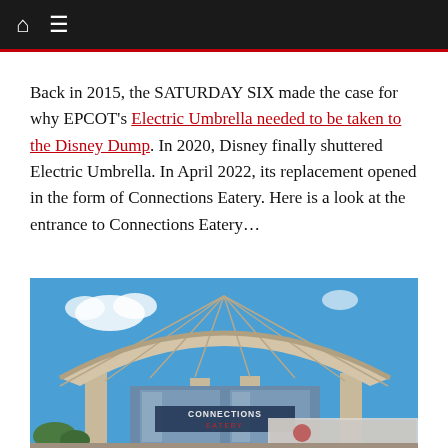Navigation bar with home and menu icons
Back in 2015, the SATURDAY SIX made the case for why EPCOT's Electric Umbrella needed to be taken to the Disney Dump. In 2020, Disney finally shuttered Electric Umbrella. In April 2022, its replacement opened in the form of Connections Eatery. Here is a look at the entrance to Connections Eatery…
[Figure (photo): Exterior photo of Connections Eatery at EPCOT, showing the large curved canopy entrance structure with 'CONNECTIONS EATERY' signage visible, photographed from below against a blue sky with light clouds]